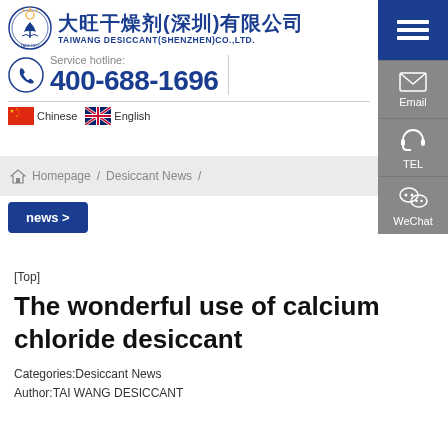[Figure (logo): Taiwang Desiccant (Shenzhen) Co., Ltd. company logo with Chinese and English name]
Service hotline: 400-688-1696
Chinese  English
[Figure (infographic): Right sidebar with Email, TEL, and WeChat buttons in dark blue and gray]
Homepage / Desiccant News /
news >
[Top]
The wonderful use of calcium chloride desiccant
Categories:Desiccant News
Author:TAI WANG DESICCANT